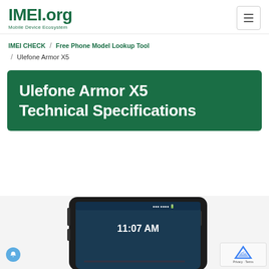IMEI.org - Mobile Device Ecosystem
IMEI CHECK / Free Phone Model Lookup Tool / Ulefone Armor X5
Ulefone Armor X5 Technical Specifications
[Figure (photo): Ulefone Armor X5 smartphone shown from front, rugged black device with screen showing 11:07 AM]